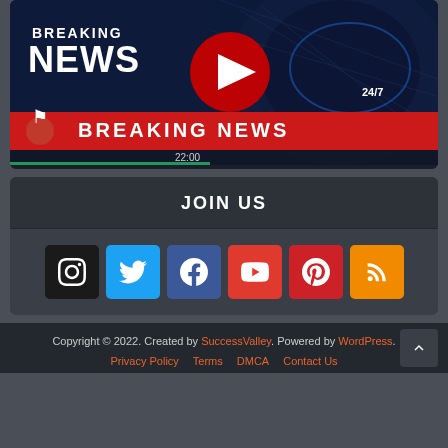[Figure (screenshot): Breaking News video thumbnail with YouTube play button overlay, showing bold white text 'BREAKING NEWS' and red banner with '24/7' and '22:00' timestamps on dark globe background]
JOIN US
[Figure (infographic): Row of social media buttons: Instagram (black), Twitter (blue), Facebook (dark blue), YouTube (red), Pinterest (red), RSS (orange)]
Copyright © 2022. Created by SuccessValley. Powered by WordPress.
Privacy Policy   Terms   DMCA   Contact Us